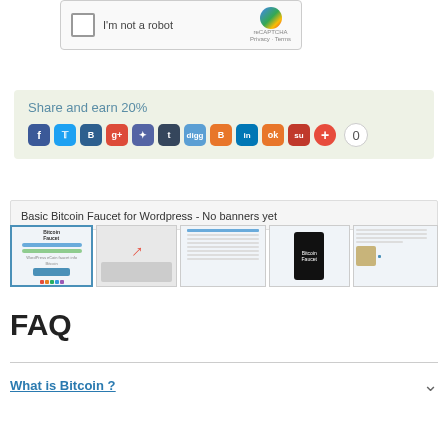[Figure (screenshot): reCAPTCHA checkbox widget with 'I'm not a robot' text and Google reCAPTCHA logo]
[Figure (screenshot): Blue 'Get reward!' button]
[Figure (screenshot): Green 'Share and earn 20%' box with social media sharing icons (Facebook, Twitter, Bookmarking, G+, etc.) and share count 0]
Basic Bitcoin Faucet for Wordpress - No banners yet
[Figure (screenshot): Five plugin screenshots showing Bitcoin Faucet UI, settings, and configuration screens]
FAQ
What is Bitcoin ?